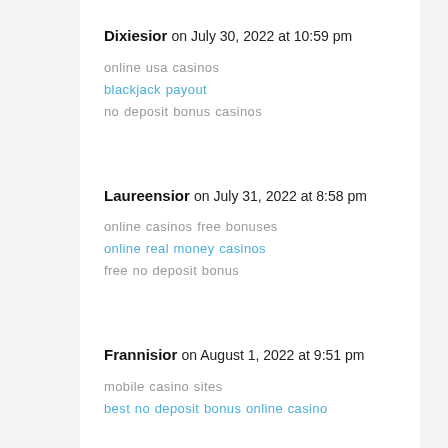Dixiesior on July 30, 2022 at 10:59 pm
online usa casinos
blackjack payout
no deposit bonus casinos
Laureensior on July 31, 2022 at 8:58 pm
online casinos free bonuses
online real money casinos
free no deposit bonus
Frannisior on August 1, 2022 at 9:51 pm
mobile casino sites
best no deposit bonus online casino